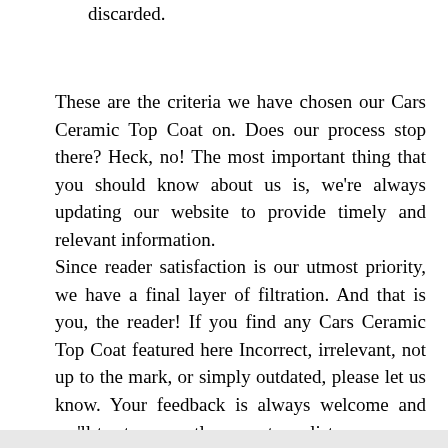discarded.
These are the criteria we have chosen our Cars Ceramic Top Coat on. Does our process stop there? Heck, no! The most important thing that you should know about us is, we're always updating our website to provide timely and relevant information. Since reader satisfaction is our utmost priority, we have a final layer of filtration. And that is you, the reader! If you find any Cars Ceramic Top Coat featured here Incorrect, irrelevant, not up to the mark, or simply outdated, please let us know. Your feedback is always welcome and we'll try to promptly correct our list as per your reasonable suggestion.